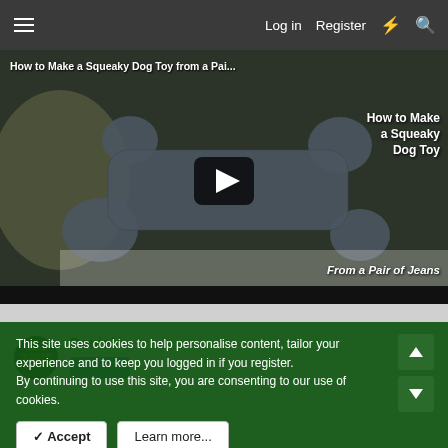Log in  Register
[Figure (screenshot): Video thumbnail showing a dog bone shaped toy made from denim jeans being held by a hand. Title overlay reads 'How to Make a Squeaky Dog Toy from a Pai...' with text on right: 'How to Make a Squeaky Dog Toy From a Pair of Jeans'. Play button in center.]
Daniel
This site uses cookies to help personalise content, tailor your experience and to keep you logged in if you register.
By continuing to use this site, you are consenting to our use of cookies.
✓ Accept
Learn more...